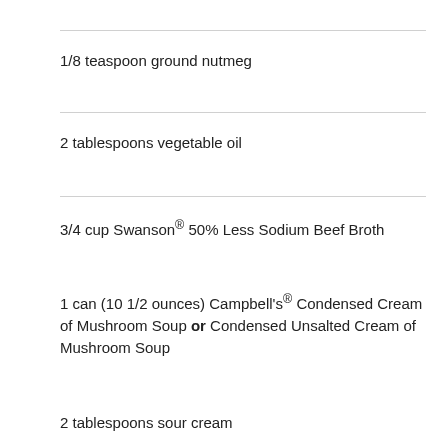1/8 teaspoon ground nutmeg
2 tablespoons vegetable oil
3/4 cup Swanson® 50% Less Sodium Beef Broth
1 can (10 1/2 ounces) Campbell's® Condensed Cream of Mushroom Soup or Condensed Unsalted Cream of Mushroom Soup
2 tablespoons sour cream